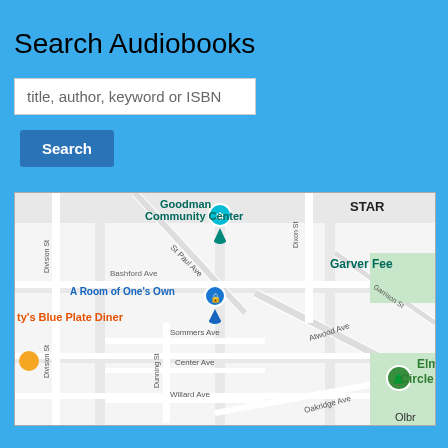Search Audiobooks
title, author, keyword or ISBN
Search
[Figure (map): Google Maps showing Goodman Community Center, A Room of One's Own bookstore, Garver Feed, Elmside Circle Park, and surrounding streets including Division St, St Paul Ave, Dixon St, Garrison St, Atwood Ave, Sommers Ave, Center Ave, Willard Ave, Oakridge Ave in Madison, WI.]